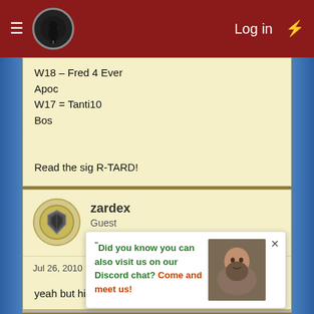Log in
W18 – Fred 4 Ever
Apoc
W17 = Tanti10
Bos
Read the sig R-TARD!
zardex
Guest
Jul 26, 2010  #688
yeah but his face is neeew
DeletedUser45512
Guest
Jul 26, 2010  #689
Did you know you can also visit us on our Discord chat? Come and meet us!